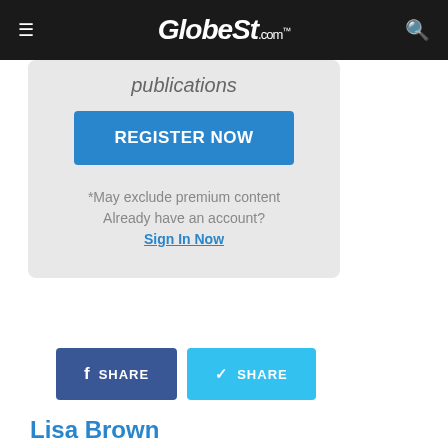GlobeSt.com
publications
REGISTER NOW
*May exclude premium content
Already have an account?
Sign In Now
[Figure (other): Facebook share button and Twitter share button side by side]
Lisa Brown